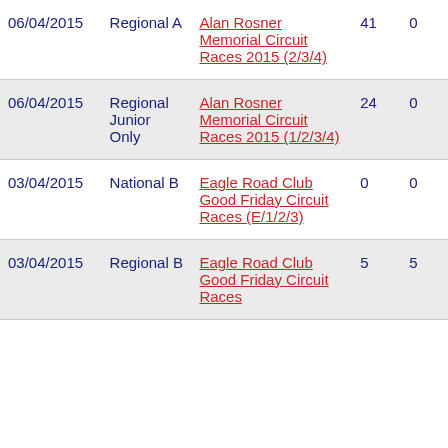| Date | Category | Event | Col4 | Col5 |
| --- | --- | --- | --- | --- |
| 06/04/2015 | Regional A | Alan Rosner Memorial Circuit Races 2015 (2/3/4) | 41 | 0 |
| 06/04/2015 | Regional Junior Only | Alan Rosner Memorial Circuit Races 2015 (1/2/3/4) | 24 | 0 |
| 03/04/2015 | National B | Eagle Road Club Good Friday Circuit Races (E/1/2/3) | 0 | 0 |
| 03/04/2015 | Regional B | Eagle Road Club Good Friday Circuit Races (...) | 5 | 5 |